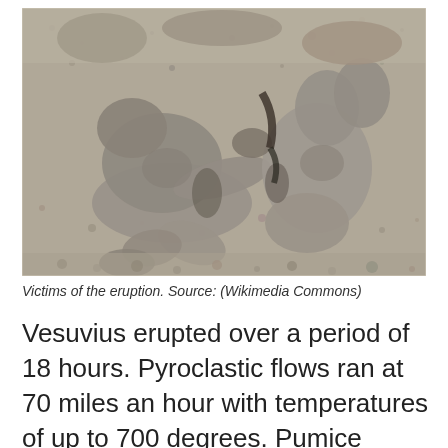[Figure (photo): Photograph of plaster casts of Pompeii eruption victims lying on volcanic ash and pumice ground. The casts show human forms frozen in their final positions.]
Victims of the eruption. Source: (Wikimedia Commons)
Vesuvius erupted over a period of 18 hours. Pyroclastic flows ran at 70 miles an hour with temperatures of up to 700 degrees. Pumice rained from the sky. By the time it was done, ash and debris Pompeii and